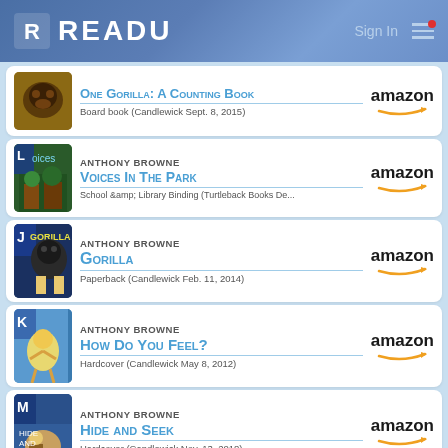READU — Sign In
One Gorilla: A Counting Book — Board book (Candlewick Sept. 8, 2015)
ANTHONY BROWNE — Voices In The Park — School & Library Binding (Turtleback Books De...)
ANTHONY BROWNE — Gorilla — Paperback (Candlewick Feb. 11, 2014)
ANTHONY BROWNE — How Do You Feel? — Hardcover (Candlewick May 8, 2012)
ANTHONY BROWNE — Hide and Seek — Hardcover (Candlewick Nov. 13, 2018)